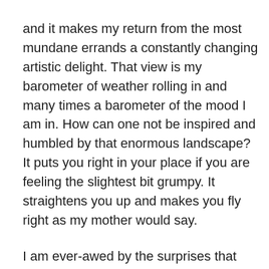and it makes my return from the most mundane errands a constantly changing artistic delight. That view is my barometer of weather rolling in and many times a barometer of the mood I am in. How can one not be inspired and humbled by that enormous landscape? It puts you right in your place if you are feeling the slightest bit grumpy. It straightens you up and makes you fly right as my mother would say.
I am ever-awed by the surprises that come my way, both great and small, during this giving season. I also happen to have a late November birthday, lumped in with Thanksgiving and Christmas and so I am also facing the fact that I am in the late fall of my life both literally and metaphorically. No need to remind me – I am well aware of the years, thank you very much. Winter is just around the corner. I can already hear the wind howling as it gets